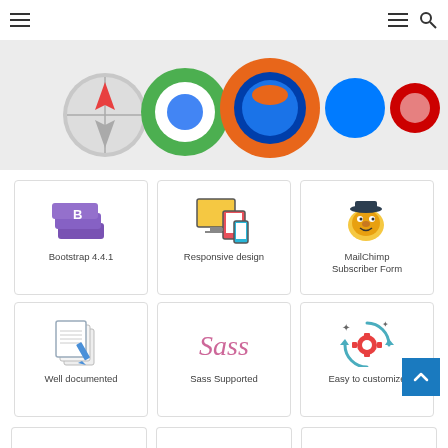[Figure (screenshot): Navigation bar with hamburger menu icons and search icon]
[Figure (illustration): Hero banner showing browser logos: Safari, Chrome, Firefox, Internet Explorer, Opera]
[Figure (illustration): Bootstrap 4.4.1 icon - purple layered diamond B logo]
Bootstrap 4.4.1
[Figure (illustration): Responsive design icon - monitor with tablet and phone]
Responsive design
[Figure (illustration): MailChimp mascot - monkey with sailor hat]
MailChimp Subscriber Form
[Figure (illustration): Well documented icon - stacked pages with pen]
Well documented
[Figure (illustration): Sass logo in pink cursive script]
Sass Supported
[Figure (illustration): Easy to customize icon - gear with circular arrows and stars]
Easy to customize